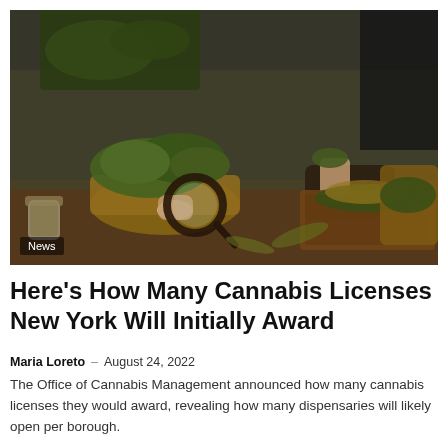[Figure (photo): Hands examining cannabis buds with a magnifying glass over a wicker basket, with wooden boxes of cannabis and glass jars on a table. News badge overlay in bottom-left corner.]
Here’s How Many Cannabis Licenses New York Will Initially Award
Maria Loreto – August 24, 2022
The Office of Cannabis Management announced how many cannabis licenses they would award, revealing how many dispensaries will likely open per borough.